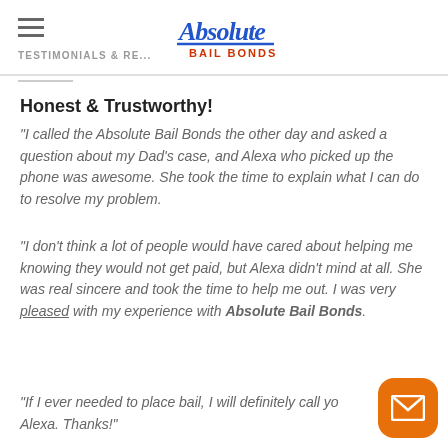TESTIMONIALS & REVIEWS — Absolute Bail Bonds logo
Honest & Trustworthy!
"I called the Absolute Bail Bonds the other day and asked a question about my Dad's case, and Alexa who picked up the phone was awesome. She took the time to explain what I can do to resolve my problem.
"I don't think a lot of people would have cared about helping me knowing they would not get paid, but Alexa didn't mind at all. She was real sincere and took the time to help me out. I was very pleased with my experience with Absolute Bail Bonds.
"If I ever needed to place bail, I will definitely call you Alexa. Thanks!"